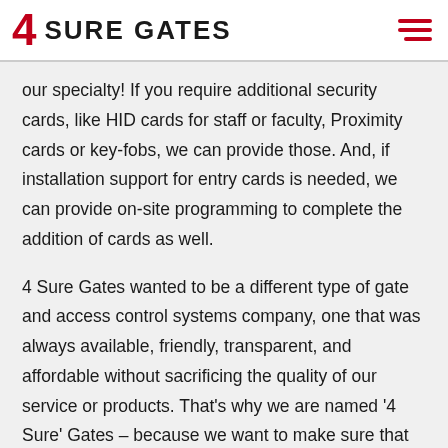4 SURE GATES
our specialty! If you require additional security cards, like HID cards for staff or faculty, Proximity cards or key-fobs, we can provide those. And, if installation support for entry cards is needed, we can provide on-site programming to complete the addition of cards as well.
4 Sure Gates wanted to be a different type of gate and access control systems company, one that was always available, friendly, transparent, and affordable without sacrificing the quality of our service or products. That’s why we are named ‘4 Sure’ Gates – because we want to make sure that you are satisfied and secure!